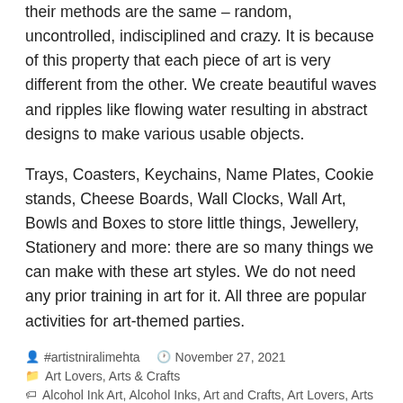their methods are the same – random, uncontrolled, indisciplined and crazy. It is because of this property that each piece of art is very different from the other. We create beautiful waves and ripples like flowing water resulting in abstract designs to make various usable objects.
Trays, Coasters, Keychains, Name Plates, Cookie stands, Cheese Boards, Wall Clocks, Wall Art, Bowls and Boxes to store little things, Jewellery, Stationery and more: there are so many things we can make with these art styles. We do not need any prior training in art for it. All three are popular activities for art-themed parties.
👤 #artistniralimehta   🕐 November 27, 2021
🗂 Art Lovers, Arts & Crafts
🏷 Alcohol Ink Art, Alcohol Inks, Art and Crafts, Art Lovers, Arts